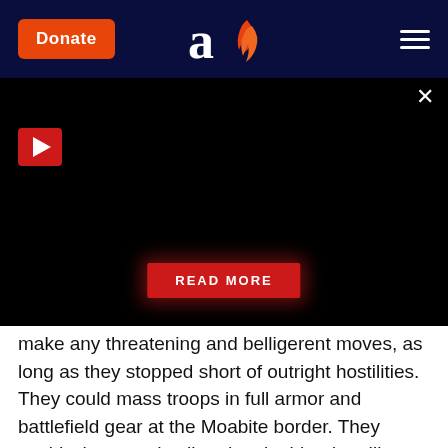Donate | Aish | Menu
[Figure (screenshot): Black video player area with red play button, close X button, and READ MORE button]
make any threatening and belligerent moves, as long as they stopped short of outright hostilities. They could mass troops in full armor and battlefield gear at the Moabite border. They could whoop and yell and make bloodcurdling cries and brandish their swords in the air. But they could not shoot in anger. This explains why Moav was “frightened of the people.”